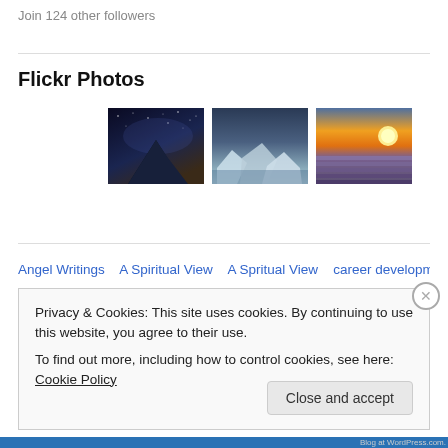Join 124 other followers
Flickr Photos
[Figure (photo): Three Flickr photo thumbnails: a night sky over mountain, icy glacier landscape, and sunset over lavender field]
More Photos
Angel Writings   A Spiritual View   A Spritual View   career development
Privacy & Cookies: This site uses cookies. By continuing to use this website, you agree to their use.
To find out more, including how to control cookies, see here: Cookie Policy
Close and accept